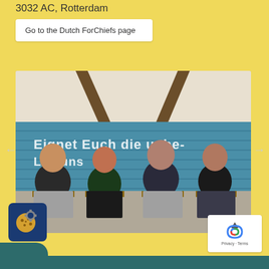3032 AC, Rotterdam
Go to the Dutch ForChiefs page
[Figure (photo): Four people sitting on chairs in front of a blue brick wall with German text 'Eignet Euch die unbe-... Len uns' painted on it. They are laughing and smiling.]
[Figure (logo): Cookie settings icon badge - dark blue square with cookie and gear icon]
[Figure (logo): Google reCAPTCHA badge with Privacy and Terms links]